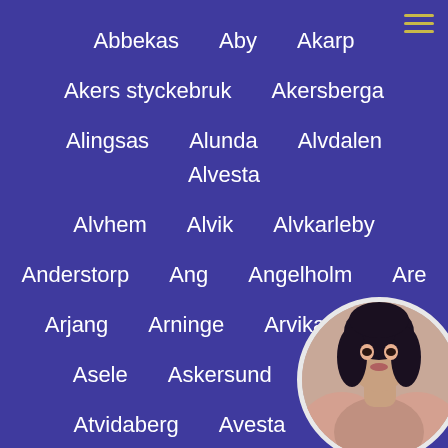Abbekas   Aby   Akarp
Akers styckebruk   Akersberga
Alingsas   Alunda   Alvdalen   Alvesta
Alvhem   Alvik   Alvkarleby
Anderstorp   Ang   Angelholm   Are
Arjang   Arninge   Arvika   Asa
Asele   Askersund   Astorp
Atvidaberg   Avesta   Ba...
Ballingslov   Bankeryd
Beddingestrand   Bengtsfors
[Figure (photo): Circular avatar photo of a woman with dark hair in the bottom-right corner]